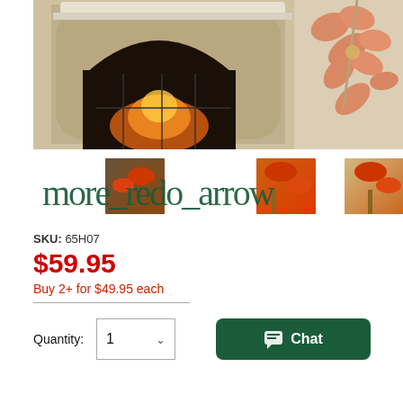[Figure (photo): A fireplace with stone surround and arched opening, warm orange glow from fire, with artificial orange maple leaf autumn decoration branch hanging in foreground]
[Figure (photo): Three thumbnail images of autumn/fall decorative tree with orange maple leaves near stone fireplace]
SKU: 65H07
$59.95
Buy 2+ for $49.95 each
Quantity: 1
Chat